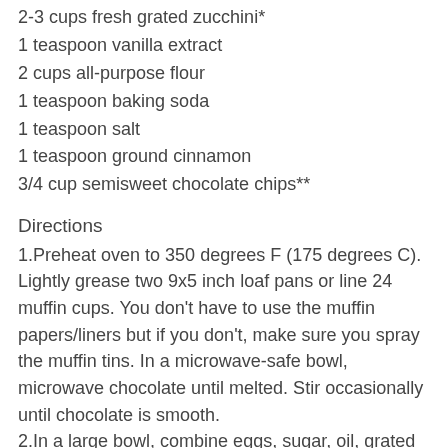2-3 cups fresh grated zucchini*
1 teaspoon vanilla extract
2 cups all-purpose flour
1 teaspoon baking soda
1 teaspoon salt
1 teaspoon ground cinnamon
3/4 cup semisweet chocolate chips**
Directions
1.Preheat oven to 350 degrees F (175 degrees C). Lightly grease two 9x5 inch loaf pans or line 24 muffin cups. You don't have to use the muffin papers/liners but if you don't, make sure you spray the muffin tins. In a microwave-safe bowl, microwave chocolate until melted. Stir occasionally until chocolate is smooth.
2.In a large bowl, combine eggs, sugar, oil, grated zucchini, vanilla and chocolate; beat well. Stir in the flour baking soda, salt, cinnamon and chocolate chips**. Pour batter into prepared loaf pans.
3.Bake loaf pans in preheated oven for 60 to 70 minutes, or until a toothpick inserted into the center of a loaf comes out clean. Bake cupcakes in a preheated oven for 30-35 minutes